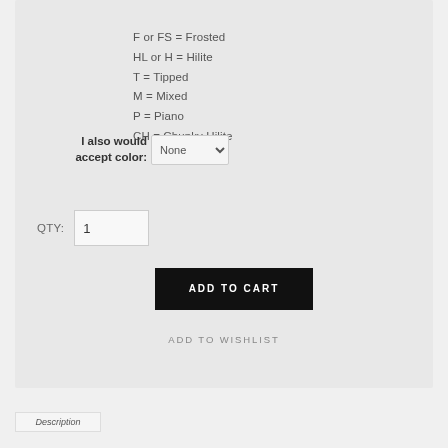F or FS = Frosted
HL or H = Hilite
T = Tipped
M = Mixed
P = Piano
CH = Chunky Hilite
I also would accept color: None
QTY: 1
ADD TO CART
ADD TO WISHLIST
Description